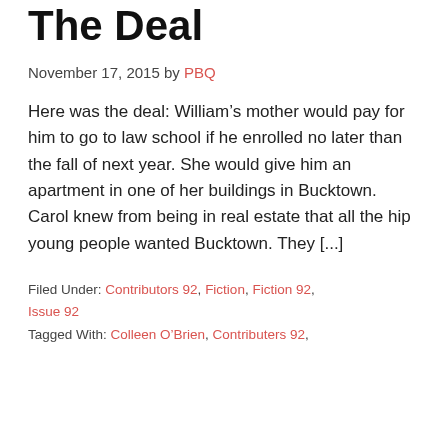The Deal
November 17, 2015 by PBQ
Here was the deal: William’s mother would pay for him to go to law school if he enrolled no later than the fall of next year. She would give him an apartment in one of her buildings in Bucktown. Carol knew from being in real estate that all the hip young people wanted Bucktown. They [...]
Filed Under: Contributors 92, Fiction, Fiction 92, Issue 92
Tagged With: Colleen O’Brien, Contributers 92,